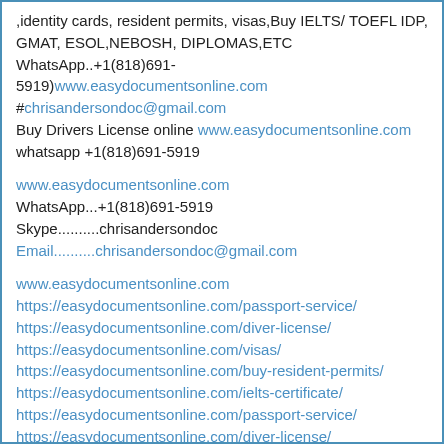,identity cards, resident permits, visas,Buy IELTS/ TOEFL IDP, GMAT, ESOL,NEBOSH, DIPLOMAS,ETC
WhatsApp..+1(818)691-5919)www.easydocumentsonline.com
#chrisandersondoc@gmail.com
Buy Drivers License online www.easydocumentsonline.com
whatsapp +1(818)691-5919
www.easydocumentsonline.com
WhatsApp...+1(818)691-5919
Skype..........chrisandersondoc
Email..........chrisandersondoc@gmail.com
www.easydocumentsonline.com
https://easydocumentsonline.com/passport-service/
https://easydocumentsonline.com/diver-license/
https://easydocumentsonline.com/visas/
https://easydocumentsonline.com/buy-resident-permits/
https://easydocumentsonline.com/ielts-certificate/
https://easydocumentsonline.com/passport-service/
https://easydocumentsonline.com/diver-license/
https://easydocumentsonline.com/visas/
https://easydocumentsonline.com/buy-resident-permits/
https://easydocumentsonline.com/ielts-certificate/